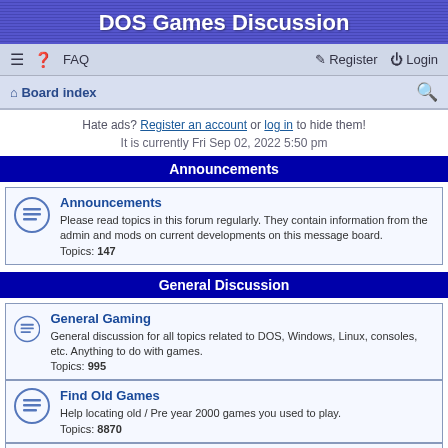DOS Games Discussion
≡  FAQ    Register  Login
Board index  🔍
Hate ads? Register an account or log in to hide them!
It is currently Fri Sep 02, 2022 5:50 pm
Announcements
Announcements
Please read topics in this forum regularly. They contain information from the admin and mods on current developments on this message board.
Topics: 147
General Discussion
General Gaming
General discussion for all topics related to DOS, Windows, Linux, consoles, etc. Anything to do with games.
Topics: 995
Find Old Games
Help locating old / Pre year 2000 games you used to play.
Topics: 8870
Get Games to Work
Post problems with getting games installed and running properly here.